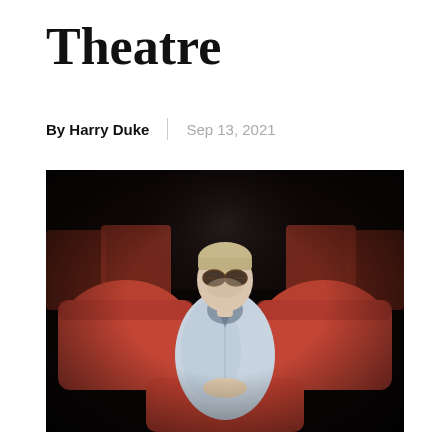Theatre
By Harry Duke | Sep 13, 2021
[Figure (photo): A young man with sunglasses and a light blue shirt sitting alone in a row of red/orange theatre seats in a darkened auditorium, lit from above, facing the camera with hands clasped.]